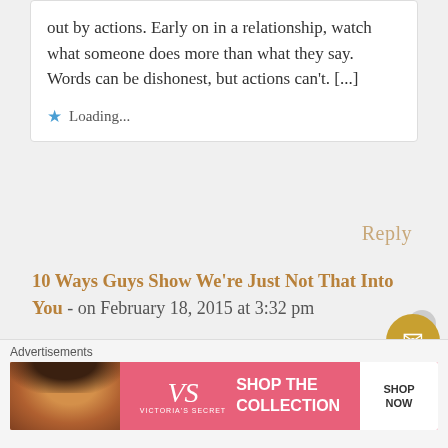out by actions. Early on in a relationship, watch what someone does more than what they say. Words can be dishonest, but actions can't. [...]
★ Loading...
Reply
10 Ways Guys Show We're Just Not That Into You - on February 18, 2015 at 3:32 pm
[...] A man (or anyone) can talk a certain way, and then act another way. Words are nice, but they are always drowned
[Figure (advertisement): Victoria's Secret advertisement banner with model photo, VS logo, 'SHOP THE COLLECTION' text, and 'SHOP NOW' button in pink/white]